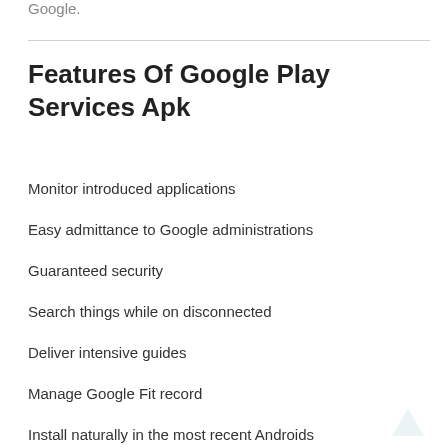Google.
Features Of Google Play Services Apk
Monitor introduced applications
Easy admittance to Google administrations
Guaranteed security
Search things while on disconnected
Deliver intensive guides
Manage Google Fit record
Install naturally in the most recent Androids